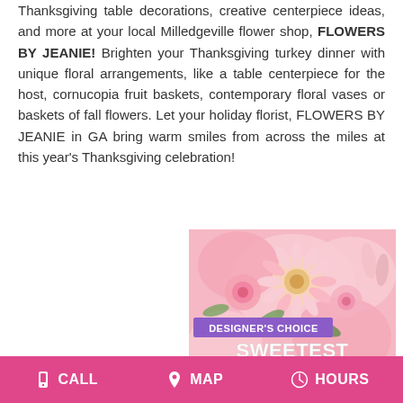Thanksgiving table decorations, creative centerpiece ideas, and more at your local Milledgeville flower shop, FLOWERS BY JEANIE! Brighten your Thanksgiving turkey dinner with unique floral arrangements, like a table centerpiece for the host, cornucopia fruit baskets, contemporary floral vases or baskets of fall flowers. Let your holiday florist, FLOWERS BY JEANIE in GA bring warm smiles from across the miles at this year's Thanksgiving celebration!
[Figure (photo): A promotional photo of pink floral arrangements with a banner overlay reading 'DESIGNER'S CHOICE SWEETEST DAY']
CALL  MAP  HOURS